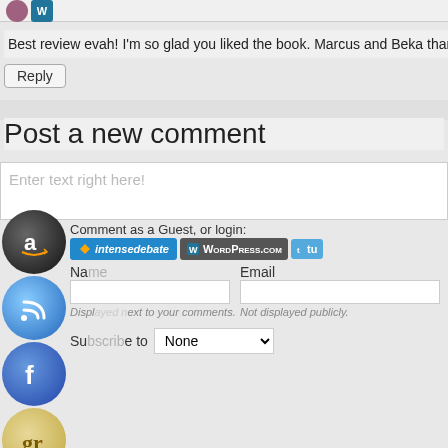Best review evah! I'm so glad you liked the book. Marcus and Beka thank yo
Reply
Post a new comment
Enter text right here!
Comment as a Guest, or login:
[Figure (screenshot): Login buttons: intensedebate, WordPress.com, Twitter]
Name
Email
Displayed next to your comments.
Not displayed publicly.
Subscribe to
None